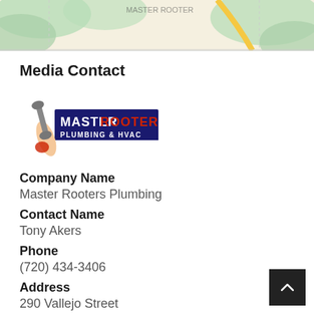[Figure (map): Partial map view showing green terrain areas and a yellow road, top portion cut off]
Media Contact
[Figure (logo): Master Rooter Plumbing & HVAC logo with wrench mascot]
Company Name
Master Rooters Plumbing
Contact Name
Tony Akers
Phone
(720) 434-3406
Address
290 Vallejo Street
City
Denver
State